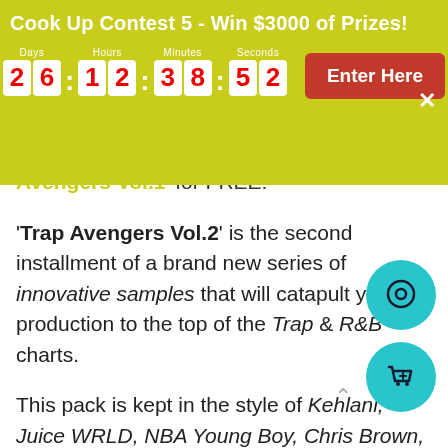Cook Up Contest 5 - Win $3000 of Prizes!
Avengers Vol.1' for FREE!
'Trap Avengers Vol.2' is the second installment of a brand new series of innovative samples that will catapult your production to the top of the Trap & R&B charts.
This pack is kept in the style of Kehlani, Juice WRLD, NBA Young Boy, Chris Brown, Nicki Minaj and many other big names.
Besides the included Melody Samples, the bulk of the pack is made up of Drum Samples and Drum Loops that were designed for the purpose of Dirty, Distorted, Hard Knocking and Glitchy sounds.
Great care has been taken to sculpt the sounds as much as possible to turn them into your next chart-topping hit straight away.